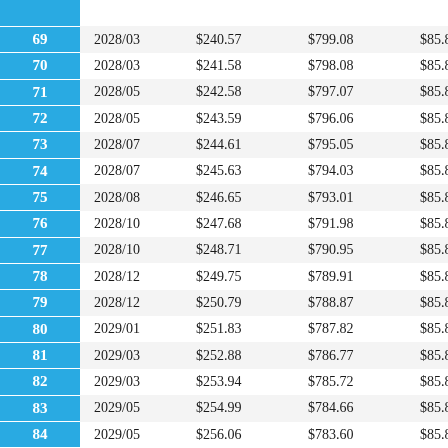| # | Date | Principal | Balance | Payment |
| --- | --- | --- | --- | --- |
| 69 | 2028/03 | $240.57 | $799.08 | $85.83 |
| 70 | 2028/03 | $241.58 | $798.08 | $85.83 |
| 71 | 2028/05 | $242.58 | $797.07 | $85.83 |
| 72 | 2028/05 | $243.59 | $796.06 | $85.83 |
| 73 | 2028/07 | $244.61 | $795.05 | $85.83 |
| 74 | 2028/07 | $245.63 | $794.03 | $85.83 |
| 75 | 2028/08 | $246.65 | $793.01 | $85.83 |
| 76 | 2028/10 | $247.68 | $791.98 | $85.83 |
| 77 | 2028/10 | $248.71 | $790.95 | $85.83 |
| 78 | 2028/12 | $249.75 | $789.91 | $85.83 |
| 79 | 2028/12 | $250.79 | $788.87 | $85.83 |
| 80 | 2029/01 | $251.83 | $787.82 | $85.83 |
| 81 | 2029/03 | $252.88 | $786.77 | $85.83 |
| 82 | 2029/03 | $253.94 | $785.72 | $85.83 |
| 83 | 2029/05 | $254.99 | $784.66 | $85.83 |
| 84 | 2029/05 | $256.06 | $783.60 | $85.83 |
| 85 | 2029/07 | $257.12 | $782.53 | $85.83 |